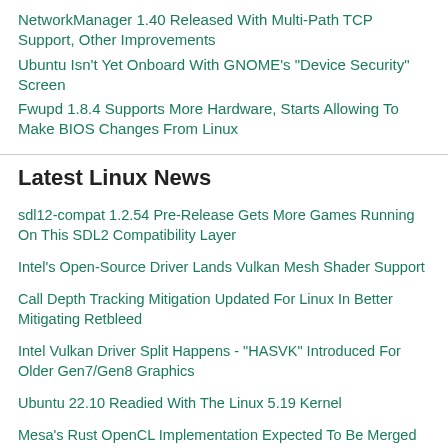NetworkManager 1.40 Released With Multi-Path TCP Support, Other Improvements
Ubuntu Isn't Yet Onboard With GNOME's "Device Security" Screen
Fwupd 1.8.4 Supports More Hardware, Starts Allowing To Make BIOS Changes From Linux
Latest Linux News
sdl12-compat 1.2.54 Pre-Release Gets More Games Running On This SDL2 Compatibility Layer
Intel's Open-Source Driver Lands Vulkan Mesh Shader Support
Call Depth Tracking Mitigation Updated For Linux In Better Mitigating Retbleed
Intel Vulkan Driver Split Happens - "HASVK" Introduced For Older Gen7/Gen8 Graphics
Ubuntu 22.10 Readied With The Linux 5.19 Kernel
Mesa's Rust OpenCL Implementation Expected To Be Merged In